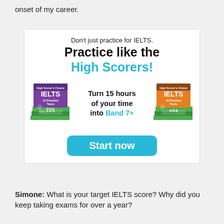onset of my career.
[Figure (illustration): IELTS practice book advertisement banner. Shows two stacks of IELTS 15 Practice Tests books (volumes 1-2-3 and 4-5-6) with text: Don't just practice for IELTS. Practice like the High Scorers! Turn 15 hours of your time into Band 7+. Start now button.]
Simone: What is your target IELTS score? Why did you keep taking exams for over a year?